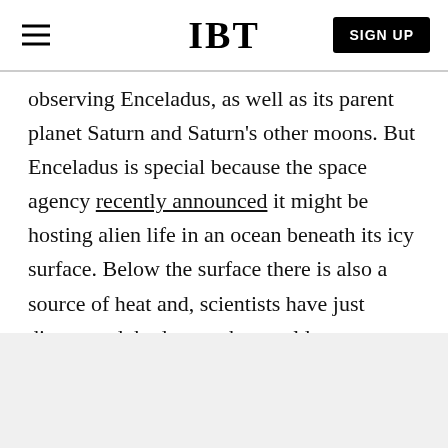IBT | SIGN UP
observing Enceladus, as well as its parent planet Saturn and Saturn's other moons. But Enceladus is special because the space agency recently announced it might be hosting alien life in an ocean beneath its icy surface. Below the surface there is also a source of heat and, scientists have just discovered, hydrogen that could serve as a source of energy to certain life forms.